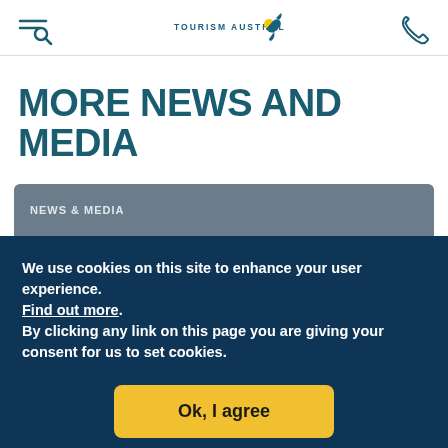Tourism Australia
MORE NEWS AND MEDIA
NEWS & MEDIA
We use cookies on this site to enhance your user experience. Find out more. By clicking any link on this page you are giving your consent for us to set cookies.
Ok, I agree